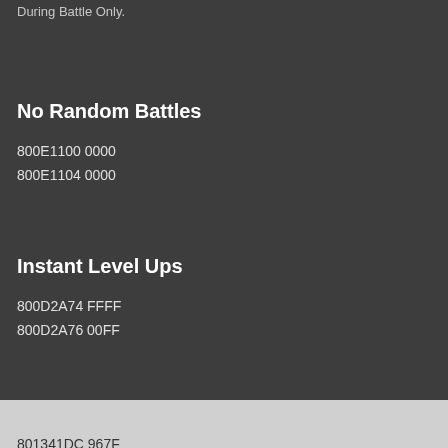During Battle Only.
No Random Battles
800E1100 0000
800E1104 0000
Instant Level Ups
800D2A74 FFFF
800D2A76 00FF
Unlimited Money
801341DC 967F